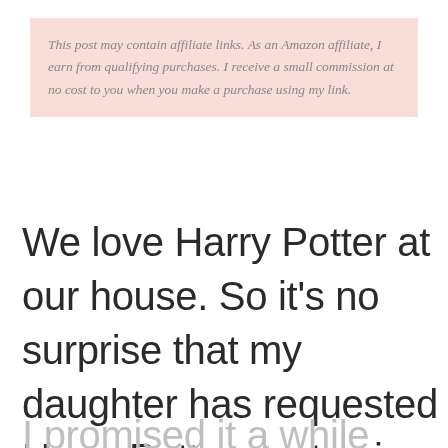This post may contain affiliate links. As an Amazon affiliate, I earn from qualifying purchases. I receive a small commission at no cost to you when you make a purchase using my link.
We love Harry Potter at our house. So it’s no surprise that my daughter has requested Harry Potter quote sign for her bedroom.
I promised it a while ago;